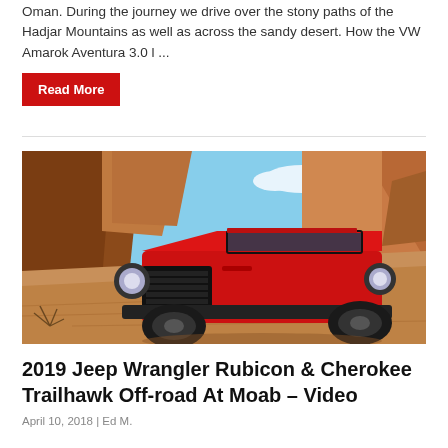Oman. During the journey we drive over the stony paths of the Hadjar Mountains as well as across the sandy desert. How the VW Amarok Aventura 3.0 l ...
Read More
[Figure (photo): Red Jeep Wrangler driving on sandy red rock terrain with red sandstone canyon walls in the background and blue sky, Moab Utah off-road scene]
2019 Jeep Wrangler Rubicon & Cherokee Trailhawk Off-road At Moab – Video
April 10, 2018 | Ed M.